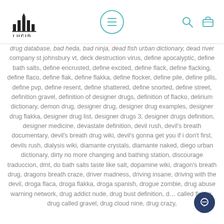Lucid logo, navigation menu, search and cart icons
drug database, bad heda, bad ninja, dead fish urban dictionary, dead river company st johnsbury vt, deck destruction virus, define apocalyptic, define bath salts, define encrusted, define excited, define flack, define flacking, define flaco, define flak, define flakka, define flocker, define pile, define pills, define pvp, define resent, define shattered, define snorted, define street, definition gravel, definition of designer drugs, definition of flacko, delirium dictionary, demon drug, designer drug, designer drug examples, designer drug flakka, designer drug list, designer drugs 3, designer drugs definition, designer medicine, devastate definition, devil rush, devil's breath documentary, devil's breath drug wiki, devil's gonna get you if i don't first, devils rush, dialysis wiki, diamante crystals, diamante naked, diego urban dictionary, dirty no more changing and bathing station, discourage traduccion, dmt, do bath salts taste like salt, dopamine wiki, dragon's breath drug, dragons breath craze, driver madness, driving insane, driving with the devil, droga flaca, droga flakka, droga spanish, drogue zombie, drug abuse warning network, drug addict nude, drug bust definition, drug called flakka, drug called gravel, drug cloud nine, drug crazy,